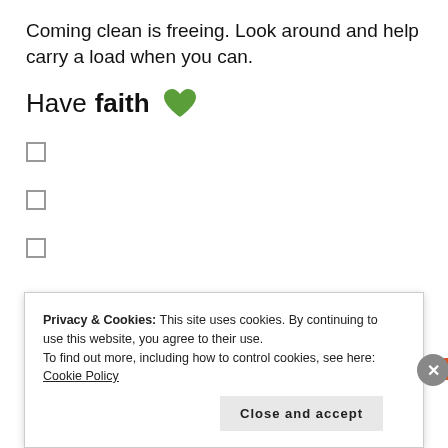Coming clean is freeing. Look around and help carry a load when you can.
Have faith 💚
☐
☐
☐
Advertisements
Privacy & Cookies: This site uses cookies. By continuing to use this website, you agree to their use.
To find out more, including how to control cookies, see here: Cookie Policy
Close and accept